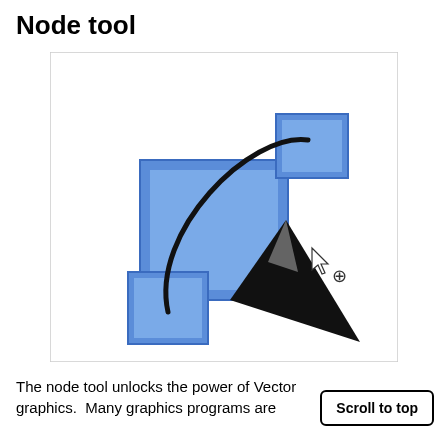Node tool
[Figure (illustration): A vector graphics illustration showing the node tool in use: three blue square nodes connected by a curved black bezier path. A large black arrow/pointer shape points toward the center node. A cursor with a move icon appears near the right node.]
The node tool unlocks the power of Vector graphics.  Many graphics programs are
Scroll to top